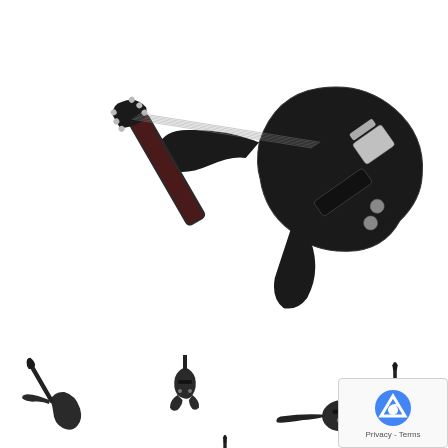[Figure (photo): Large main product photo of a black electric guitar (Schecter Damien Platinum-6 FR LH) shown at an angle, body upper right, neck upper left, on white background]
[Figure (photo): Row of 4 small thumbnail images of the same black electric guitar from different angles (diagonal, front, horizontal, front), plus one additional thumbnail below showing front view]
SHARE
Schecter Damien Platinum-6 FR LH Electric Guitar - Rosewood/Satin Black - 1184